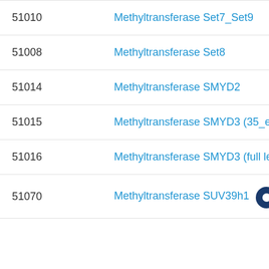| ID | Name |
| --- | --- |
| 51010 | Methyltransferase Set7_Set9 |
| 51008 | Methyltransferase Set8 |
| 51014 | Methyltransferase SMYD2 |
| 51015 | Methyltransferase SMYD3 (35_end... |
| 51016 | Methyltransferase SMYD3 (full len... |
| 51070 | Methyltransferase SUV39h1 |